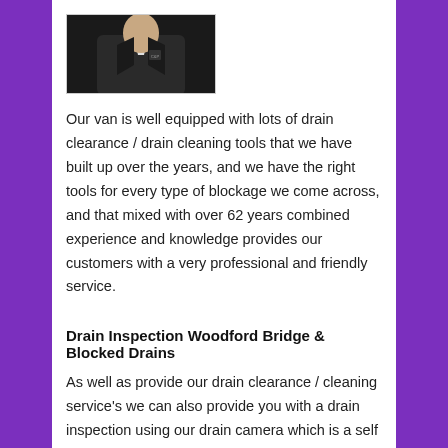[Figure (photo): Photo of a person in a dark jacket, partial upper body portrait]
Our van is well equipped with lots of drain clearance / drain cleaning tools that we have built up over the years, and we have the right tools for every type of blockage we come across, and that mixed with over 62 years combined experience and knowledge provides our customers with a very professional and friendly service.
Drain Inspection Woodford Bridge & Blocked Drains
As well as provide our drain clearance / cleaning service's we can also provide you with a drain inspection using our drain camera which is a self levelling camera and all inspections can be recorded if required on a memory stick for viewing on computer or sent in a email.
Chris Peters plumbing & drainage services unblocking blocked drains,toilets and kitchen sinks as a small drainage company we offer a fast reliable service at fixed prices accessible for all their coming in here